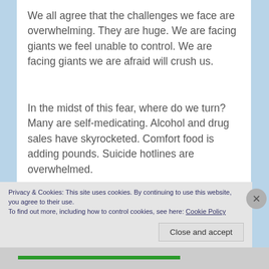We all agree that the challenges we face are overwhelming. They are huge. We are facing giants we feel unable to control. We are facing giants we are afraid will crush us.
In the midst of this fear, where do we turn?  Many are self-medicating. Alcohol and drug sales have skyrocketed. Comfort food is adding pounds. Suicide hotlines are overwhelmed.
Not long after Moses leads the people out of slavery through the Red Sea into the wilderness the LORD instructs Moses to send scouts to check out
Privacy & Cookies: This site uses cookies. By continuing to use this website, you agree to their use.
To find out more, including how to control cookies, see here: Cookie Policy
Close and accept